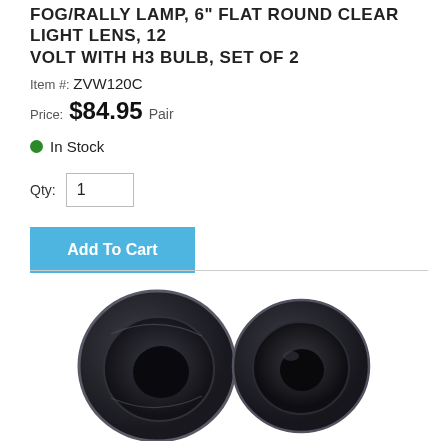FOG/RALLY LAMP, 6" FLAT ROUND CLEAR LIGHT LENS, 12 VOLT WITH H3 BULB, SET OF 2
Item #: ZVW120C
Price: $84.95 Pair
● In Stock
Qty: 1
Add To Cart
[Figure (photo): Two circular black fog/rally lamps viewed from the front, showing flat round clear lens design. Left lamp is larger and slightly angled, right lamp is smaller and facing straight. Both have dark housings.]